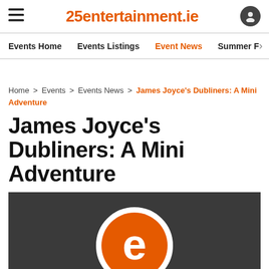25entertainment.ie
Events Home  Events Listings  Event News  Summer F
Home > Events > Events News > James Joyce's Dubliners: A Mini Adventure
James Joyce's Dubliners: A Mini Adventure
[Figure (logo): Dark background image with a large orange and white 'e' logo circle centered at the bottom]